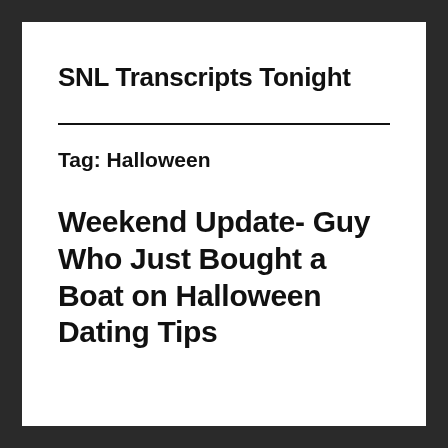SNL Transcripts Tonight
Tag: Halloween
Weekend Update- Guy Who Just Bought a Boat on Halloween Dating Tips